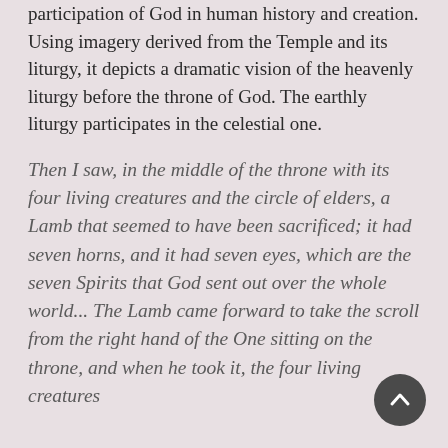participation of God in human history and creation. Using imagery derived from the Temple and its liturgy, it depicts a dramatic vision of the heavenly liturgy before the throne of God. The earthly liturgy participates in the celestial one.
Then I saw, in the middle of the throne with its four living creatures and the circle of elders, a Lamb that seemed to have been sacrificed; it had seven horns, and it had seven eyes, which are the seven Spirits that God sent out over the whole world... The Lamb came forward to take the scroll from the right hand of the One sitting on the throne, and when he took it, the four living creatures